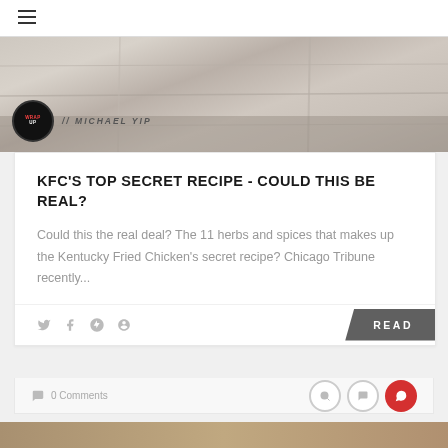≡ (hamburger menu)
[Figure (photo): Hero image showing a white wood plank texture background with a circular dark logo badge and author name '// MICHAEL YIP' in italic style]
KFC'S TOP SECRET RECIPE - COULD THIS BE REAL?
Could this the real deal? The 11 herbs and spices that makes up the Kentucky Fried Chicken's secret recipe? Chicago Tribune recently...
Social share icons (Twitter, Facebook, Google+, Pinterest) and READ button
0 Comments